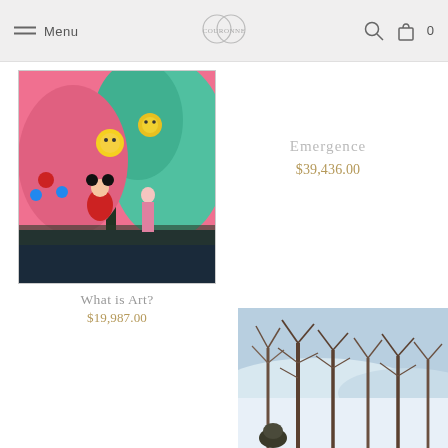Menu | [logo] | [search icon] | [cart icon] 0
[Figure (photo): Colorful pop-art painting with pink background featuring cartoon characters including Mickey Mouse, anime-style figures, trees, and whimsical creatures]
What is Art?
$19,987.00
Emergence
$39,436.00
[Figure (photo): Winter landscape photograph showing bare trees in snow with a blue sky]